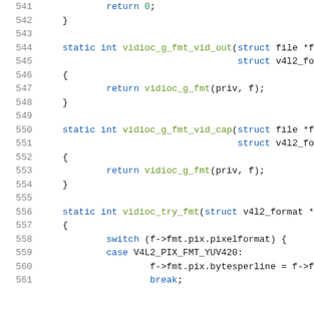[Figure (screenshot): Source code listing showing C code lines 541-561 with syntax highlighting. Keywords in blue, function names in green, line numbers in gray.]